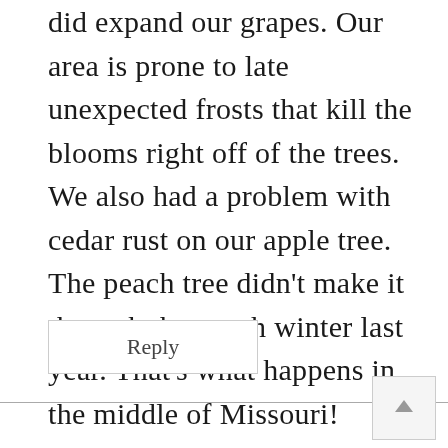did expand our grapes. Our area is prone to late unexpected frosts that kill the blooms right off of the trees. We also had a problem with cedar rust on our apple tree. The peach tree didn't make it through the tough winter last year. That's what happens in the middle of Missouri!
Reply